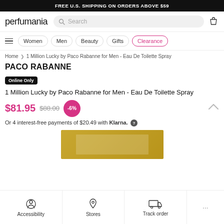FREE U.S. SHIPPING ON ORDERS ABOVE $59
[Figure (logo): Perfumania logo with search bar and bag icon]
Women  Men  Beauty  Gifts  Clearance
Home > 1 Million Lucky by Paco Rabanne for Men - Eau De Toilette Spray
PACO RABANNE
Online Only
1 Million Lucky by Paco Rabanne for Men - Eau De Toilette Spray
$81.95  $88.00  -6%
Or 4 interest-free payments of $20.49 with Klarna.
[Figure (photo): Product image of 1 Million Lucky by Paco Rabanne fragrance box in gold color]
Accessibility  Stores  Track order